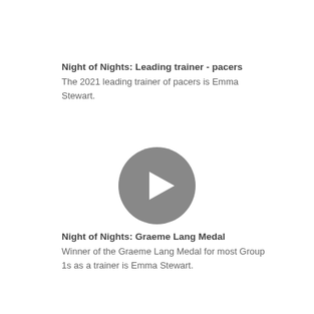Night of Nights: Leading trainer - pacers
The 2021 leading trainer of pacers is Emma Stewart.
[Figure (other): Video play button placeholder — a circular grey button with a white play triangle in the center]
Night of Nights: Graeme Lang Medal
Winner of the Graeme Lang Medal for most Group 1s as a trainer is Emma Stewart.